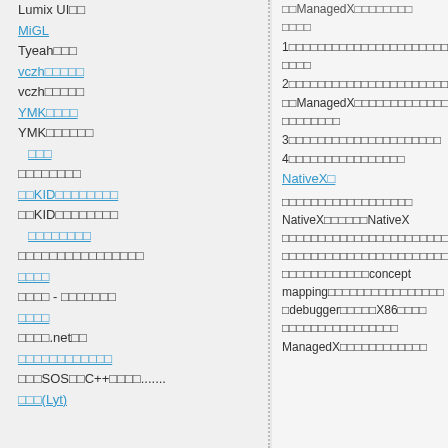Lumix UI□□
MiGL
Tyeah□□□
vczh□□□□□
vczh□□□□□
YMK□□□□
YMK□□□□□□
□□□
□□□□□□□□
□□KID□□□□□□□□
□□KID□□□□□□□□
□□□□□□□□
□□□□□□□□□□□□□□□□
□□□□
□□□□ - □□□□□□□
□□□□
□□□□.net□□
□□□□□□□□□□□□
□□□SOS□□C++□□□□.......
□□□(Lyt)
□□ManagedX□□□□□□□□ □□□□
1□□□□□□□□□□□□□□□□□□□ □□□□□□□□□□□□□□□□□□□□□ □□□□
2□□□□□□□□□□□□□□□□□□□ □□□□□□□□□□□□□□□□□□□□□
□□ManagedX□□□□□□□□□□□ □□□□□□□□□□□□□□□□□□□□□□□□ □□□□□□□□
3□□□□□□□□□□□□□□□□□□□□□
4□□□□□□□□□□□□□□□□
NativeX□
□□□□□□□□□□□□□□□□□□ NativeX□□□□□□NativeX □□□□□□□□□□□□□□□□□□□□□□□ □□□□□□□□□□□□□□□□□□□□□□□ □□□□□□□□□□□□concept mapping□□□□□□□□□□□□□□□□ □debugger□□□□□X86□□□□ □□□□□□□□□□□□□□□□
ManagedX□□□□□□□□□□□□